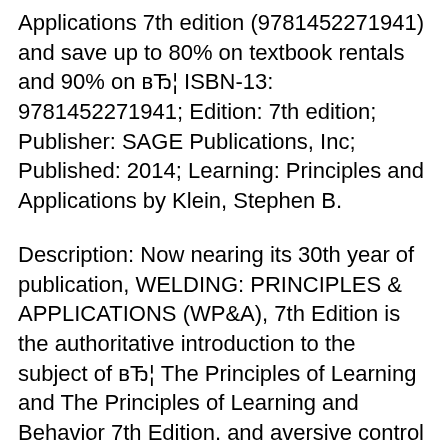Applications 7th edition (9781452271941) and save up to 80% on textbook rentals and 90% on вЂ¦ ISBN-13: 9781452271941; Edition: 7th edition; Publisher: SAGE Publications, Inc; Published: 2014; Learning: Principles and Applications by Klein, Stephen B.
Description: Now nearing its 30th year of publication, WELDING: PRINCIPLES & APPLICATIONS (WP&A), 7th Edition is the authoritative introduction to the subject of вЂ¦ The Principles of Learning and The Principles of Learning and Behavior 7th Edition. and aversive control as well as their applications to the study of